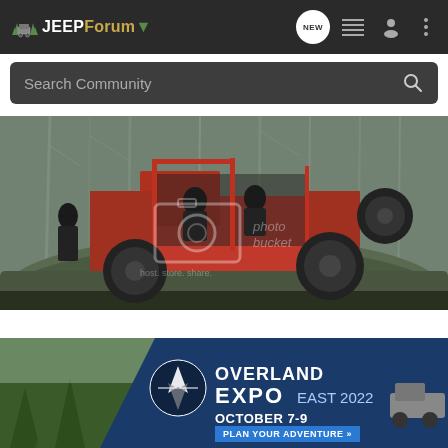JEEPForum
Search Community
[Figure (photo): Orange Jeep Wrangler without doors, crawling over a large mossy rock in a misty forest. Two people visible. Photobucket watermark overlaid.]
[Figure (photo): Overland Expo East 2022 advertisement banner. October 7-9, Arrington, VA. Plan Your Adventure button.]